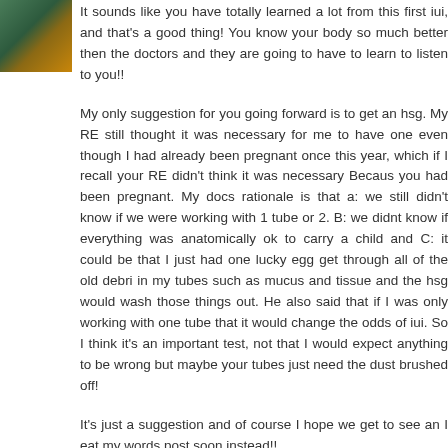[Figure (photo): Small avatar photo of a person in a green/outdoor setting]
It sounds like you have totally learned a lot from this first iui, and that's a good thing! You know your body so much better then the doctors and they are going to have to learn to listen to you!!
My only suggestion for you going forward is to get an hsg. My RE still thought it was necessary for me to have one even though I had already been pregnant once this year, which if I recall your RE didn't think it was necessary Becaus you had been pregnant. My docs rationale is that a: we still didn't know if we were working with 1 tube or 2. B: we didnt know if everything was anatomically ok to carry a child and C: it could be that I just had one lucky egg get through all of the old debri in my tubes such as mucus and tissue and the hsg would wash those things out. He also said that if I was only working with one tube that it would change the odds of iui. So I think it's an important test, not that I would expect anything to be wrong but maybe your tubes just need the dust brushed off!
It's just a suggestion and of course I hope we get to see an I eat my words post soon instead!!